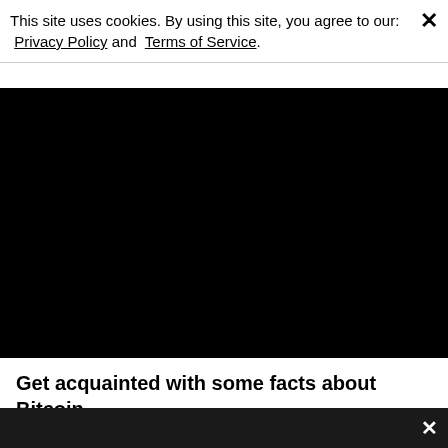This site uses cookies. By using this site, you agree to our: Privacy Policy and Terms of Service.
[Figure (other): Black video/media player area]
Get acquainted with some facts about Bitcoin.
A few weeks ago it was huge news that the value of Bitcoin surpassed 10K. Just yesterday it was even bigger news that the value went much past 16K. As we type this, the stocks of the possible future currency sits at 15K but this doesn't mean that